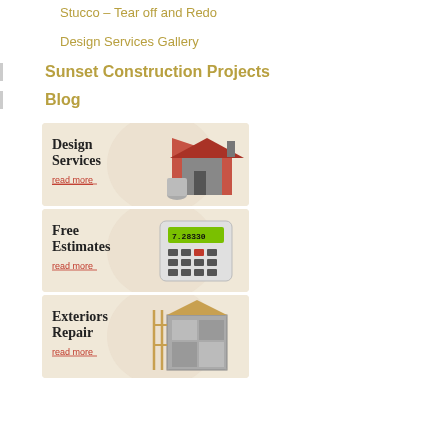Stucco – Tear off and Redo
Design Services Gallery
Sunset Construction Projects
Blog
[Figure (illustration): Design Services banner with house image, text 'Design Services read more']
[Figure (illustration): Free Estimates banner with calculator image, text 'Free Estimates read more']
[Figure (illustration): Exteriors Repair banner with building diagram, text 'Exteriors Repair read more']